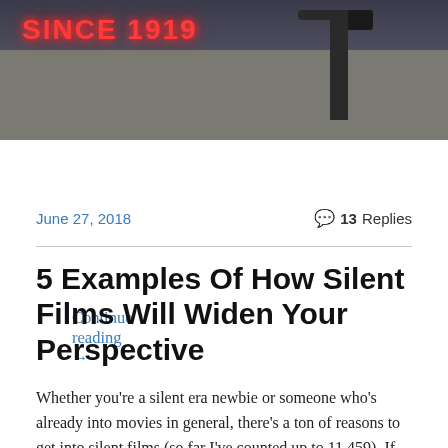[Figure (photo): Photograph of a building at night showing a neon sign reading 'SINCE 1919' in red neon letters, with a dark street lamp silhouetted against a dark sky, wall visible below the sign.]
Continue reading →
June 27, 2018
💬 13 Replies
5 Examples Of How Silent Films Will Widen Your Perspective
Whether you're a silent era newbie or someone who's already into movies in general, there's a ton of reasons to get into silent films (so far I've counted up to 11,459). If